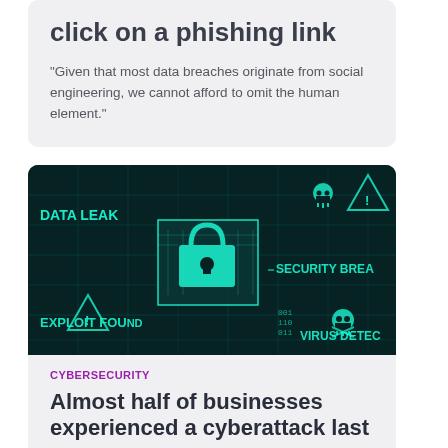click on a phishing link
"Given that most data breaches originate from social engineering, we cannot afford to omit the human element."
[Figure (photo): Cybersecurity themed image with dark teal circuit board background showing icons for DATA LEAK, SECURITY BREACH, EXPLOIT FOUND, VIRUS DETECT, with a padlock and skull-and-crossbones symbols]
CYBERSECURITY
Almost half of businesses experienced a cyberattack last